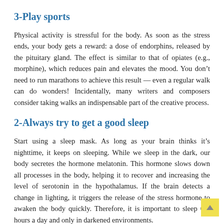3-Play sports
Physical activity is stressful for the body. As soon as the stress ends, your body gets a reward: a dose of endorphins, released by the pituitary gland. The effect is similar to that of opiates (e.g., morphine), which reduces pain and elevates the mood. You don’t need to run marathons to achieve this result — even a regular walk can do wonders! Incidentally, many writers and composers consider taking walks an indispensable part of the creative process.
2-Always try to get a good sleep
Start using a sleep mask. As long as your brain thinks it’s nighttime, it keeps on sleeping. While we sleep in the dark, our body secretes the hormone melatonin. This hormone slows down all processes in the body, helping it to recover and increasing the level of serotonin in the hypothalamus. If the brain detects a change in lighting, it triggers the release of the stress hormone to awaken the body quickly. Therefore, it is important to sleep 6-8 hours a day and only in darkened environments.